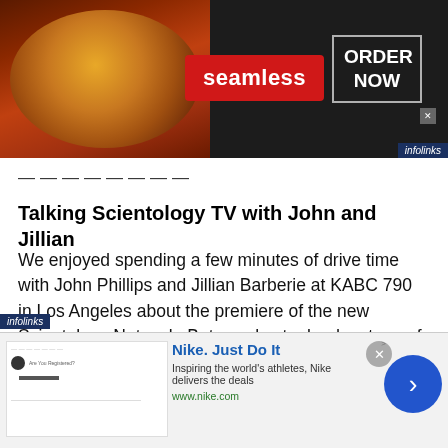[Figure (screenshot): Seamless food delivery advertisement banner with pizza image on dark background, 'seamless' red label, 'ORDER NOW' box, close button, and infolinks branding]
————————
Talking Scientology TV with John and Jillian
We enjoyed spending a few minutes of drive time with John Phillips and Jillian Barberie at KABC 790 in Los Angeles about the premiere of the new Scientology Network. But we also took advantage of the situation to plug Vanity Fair Confidential's do about Shelly Miscavige
[Figure (screenshot): Nike advertisement with 'Nike. Just Do It' text, 'Inspiring the world's athletes, Nike delivers the deals', www.nike.com URL, close button, navigation arrow, and infolinks branding]